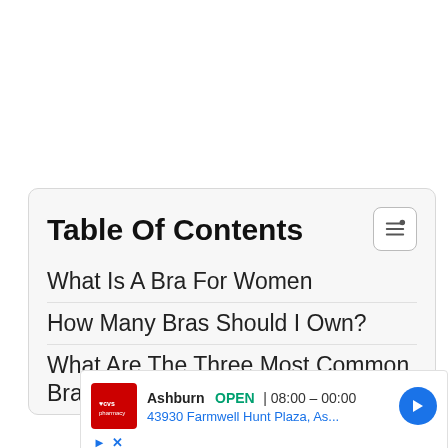Table Of Contents
What Is A Bra For Women
How Many Bras Should I Own?
What Are The Three Most Common Bras
[Figure (other): CVS pharmacy advertisement: Ashburn location OPEN 08:00 – 00:00 at 43930 Farmwell Hunt Plaza, As...]